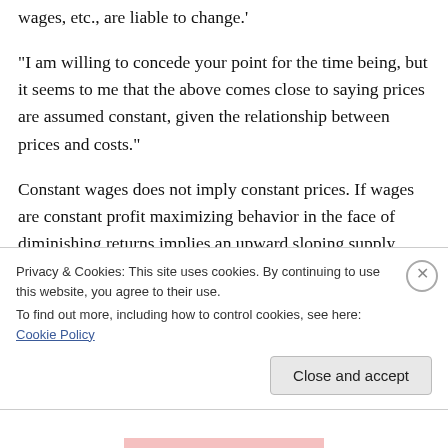wages, etc., are liable to change.'
“I am willing to concede your point for the time being, but it seems to me that the above comes close to saying prices are assumed constant, given the relationship between prices and costs.”
Constant wages does not imply constant prices. If wages are constant profit maximizing behavior in the face of diminishing returns implies an upward sloping supply curve and increasing prices as output increases and falling prices as
Privacy & Cookies: This site uses cookies. By continuing to use this website, you agree to their use.
To find out more, including how to control cookies, see here: Cookie Policy